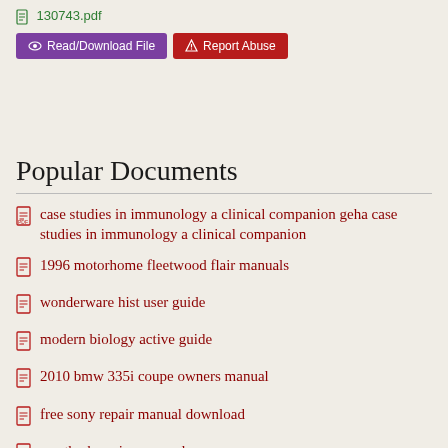130743.pdf
Read/Download File   Report Abuse
Popular Documents
case studies in immunology a clinical companion geha case studies in immunology a clinical companion
1996 motorhome fleetwood flair manuals
wonderware hist user guide
modern biology active guide
2010 bmw 335i coupe owners manual
free sony repair manual download
weatherby orion manual